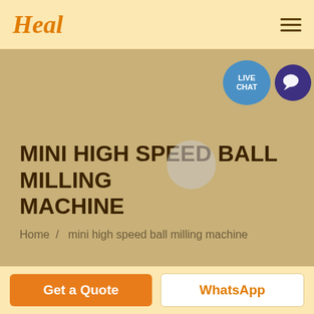Heal
[Figure (illustration): Live chat button with blue speech bubble and dark purple circle chat icon]
MINI HIGH SPEED BALL MILLING MACHINE
Home / mini high speed ball milling machine
Get a Quote
WhatsApp